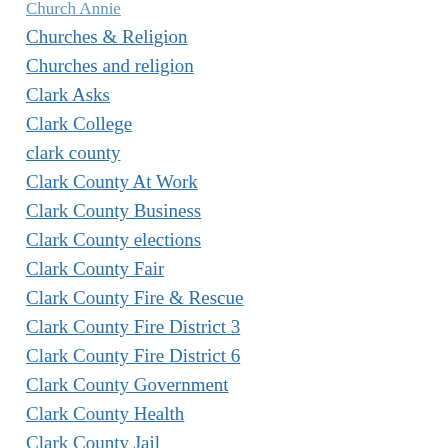Church Annie
Churches & Religion
Churches and religion
Clark Asks
Clark College
clark county
Clark County At Work
Clark County Business
Clark County elections
Clark County Fair
Clark County Fire & Rescue
Clark County Fire District 3
Clark County Fire District 6
Clark County Government
Clark County Health
Clark County Jail